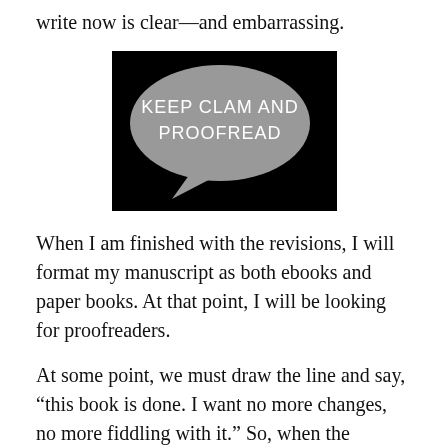write now is clear—and embarrassing.
[Figure (illustration): Dark background image with a speech bubble containing the text 'KEEP CLAM AND PROOFREAD' in white letters on a grey bubble.]
When I am finished with the revisions, I will format my manuscript as both ebooks and paper books. At that point, I will be looking for proofreaders.
At some point, we must draw the line and say, “this book is done. I want no more changes, no more fiddling with it.” So, when the manuscript is as polished as I can possibly get it, I will have one final step, one that will either ruin a formatted manuscript or make it great: proofreading.
I have said this before, and while some people will dispute